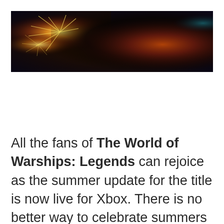[Figure (illustration): A wide banner image showing a dark fantasy scene with an eagle or large bird with spread wings silhouetted against golden fireworks bursting on the left side and a warm reddish-orange atmospheric glow. Dark purplish-blue sky in the background.]
All the fans of The World of Warships: Legends can rejoice as the summer update for the title is now live for Xbox. There is no better way to celebrate summers than playing this one with your friends.